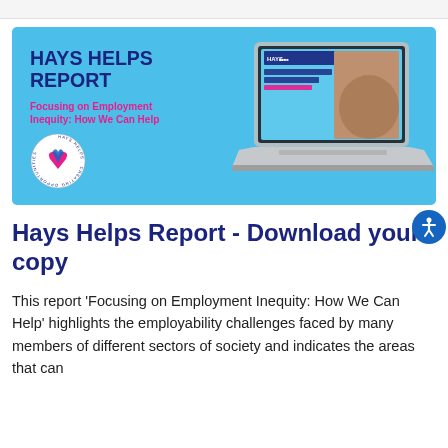[Figure (illustration): Hays Helps Report banner on a light blue background. Left side shows bold text 'HAYS HELPS REPORT' in dark navy, subtitle 'Focusing on Employment Inequity: How We Can Help' in pink, and a circular Hays Helps logo at bottom left. Right side shows a laptop displaying the report cover.]
Hays Helps Report - Download your copy
This report 'Focusing on Employment Inequity: How We Can Help' highlights the employability challenges faced by many members of different sectors of society and indicates the areas that can